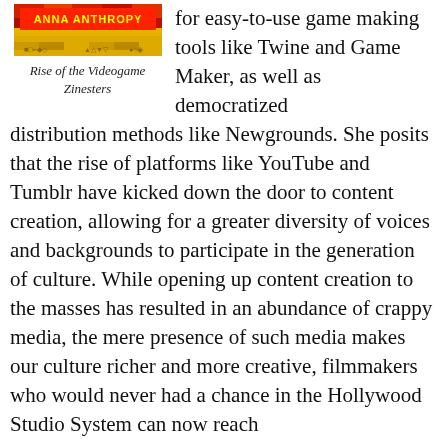[Figure (illustration): Book cover image for 'Anna Anthropy: Rise of the Videogame Zinesters' with colorful patterned background and bold text]
Rise of the Videogame Zinesters
for easy-to-use game making tools like Twine and Game Maker, as well as democratized distribution methods like Newgrounds. She posits that the rise of platforms like YouTube and Tumblr have kicked down the door to content creation, allowing for a greater diversity of voices and backgrounds to participate in the generation of culture. While opening up content creation to the masses has resulted in an abundance of crappy media, the mere presence of such media makes our culture richer and more creative, filmmakers who would never had a chance in the Hollywood Studio System can now reach